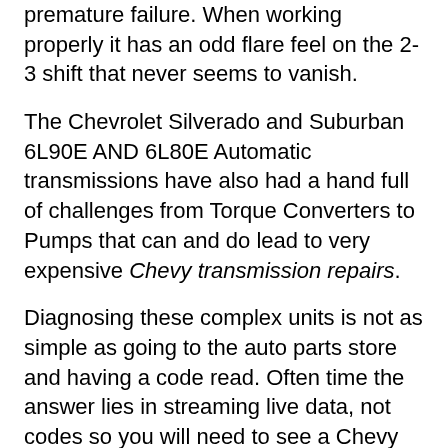premature failure. When working properly it has an odd flare feel on the 2-3 shift that never seems to vanish.
The Chevrolet Silverado and Suburban 6L90E AND 6L80E Automatic transmissions have also had a hand full of challenges from Torque Converters to Pumps that can and do lead to very expensive Chevy transmission repairs.
Diagnosing these complex units is not as simple as going to the auto parts store and having a code read. Often time the answer lies in streaming live data, not codes so you will need to see a Chevy transmission repair specialist to address any concerns. Improper transmission diagnostics can lead to high repair bills replacing expensive parts without the need.
The new era is upon us and proper care, maintenance, diagnostics are of utmost importance. Chevy Automatic Transmissions require expert attention by trained and qualified Chevy transmission